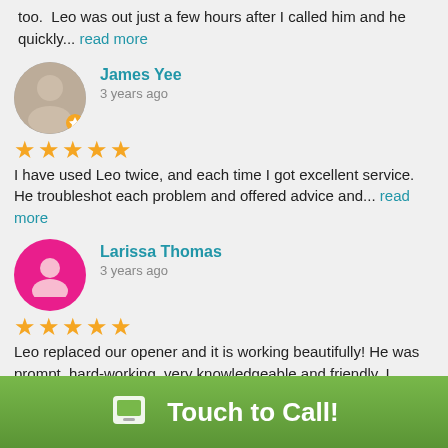too.  Leo was out just a few hours after I called him and he quickly... read more
James Yee
3 years ago
★★★★★ I have used Leo twice, and each time I got excellent service. He troubleshot each problem and offered advice and... read more
Larissa Thomas
3 years ago
★★★★★ Leo replaced our opener and it is working beautifully! He was prompt, hard-working, very knowledgeable and friendly. I... read more
Crystal Dinh
3 years ago
★★★★★ Leo's awesome. Great service, reasonable price. Strongly recommended.
Touch to Call!